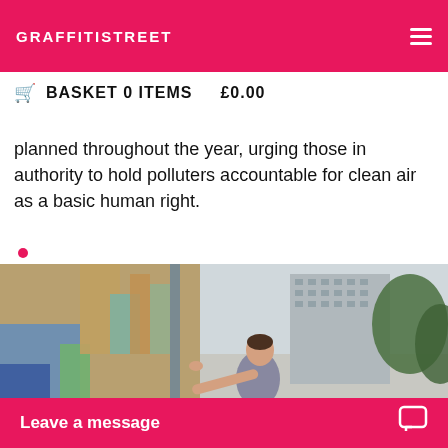GRAFFITISTREET
BASKET 0 ITEMS   £0.00
planned throughout the year, urging those in authority to hold polluters accountable for clean air as a basic human right.
[Figure (photo): A man in a sleeveless grey shirt painting a colourful graffiti mural on a building wall in an urban setting, with a high-rise building and trees visible in the background.]
Leave a message